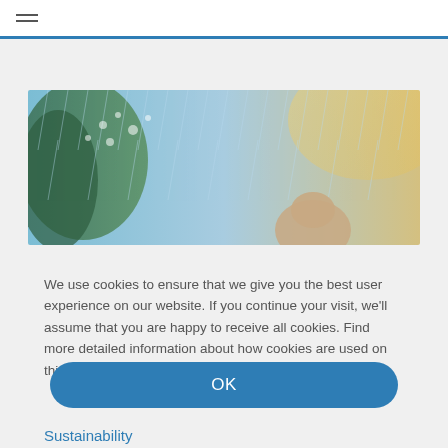Navigation menu
[Figure (photo): Wide banner photo showing a person in rain with trees and bright light effect in the background]
We use cookies to ensure that we give you the best user experience on our website. If you continue your visit, we'll assume that you are happy to receive all cookies. Find more detailed information about how cookies are used on this website on our Privacy Disclaimer
OK
Sustainability